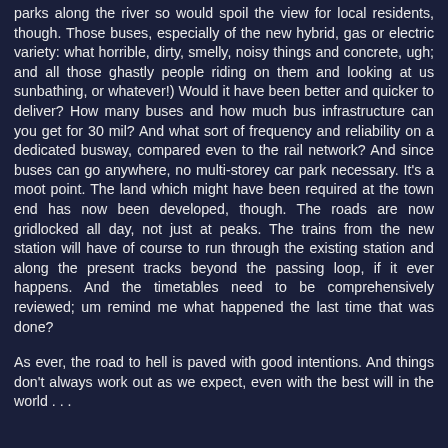parks along the river so would spoil the view for local residents, though. Those buses, especially of the new hybrid, gas or electric variety: what horrible, dirty, smelly, noisy things and concrete, ugh; and all those ghastly people riding on them and looking at us sunbathing, or whatever!) Would it have been better and quicker to deliver? How many buses and how much bus infrastructure can you get for 30 mil? And what sort of frequency and reliability on a dedicated busway, compared even to the rail network? And since buses can go anywhere, no multi-storey car park necessary. It's a moot point. The land which might have been required at the town end has now been developed, though. The roads are now gridlocked all day, not just at peaks. The trains from the new station will have of course to run through the existing station and along the present tracks beyond the passing loop, if it ever happens. And the timetables need to be comprehensively reviewed; um remind me what happened the last time that was done?
As ever, the road to hell is paved with good intentions. And things don't always work out as we expect, even with the best will in the world . . .